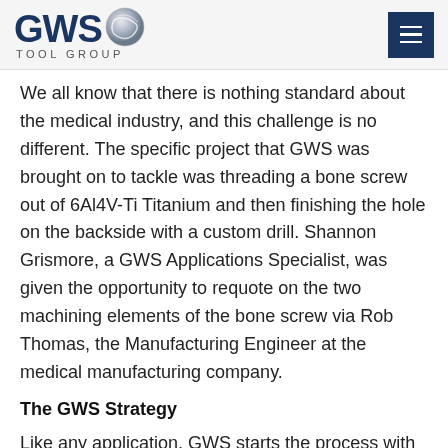GWS TOOL GROUP
We all know that there is nothing standard about the medical industry, and this challenge is no different. The specific project that GWS was brought on to tackle was threading a bone screw out of 6Al4V-Ti Titanium and then finishing the hole on the backside with a custom drill. Shannon Grismore, a GWS Applications Specialist, was given the opportunity to requote on the two machining elements of the bone screw via Rob Thomas, the Manufacturing Engineer at the medical manufacturing company.
The GWS Strategy
Like any application, GWS starts the process with our application specialists listening to the customer, their